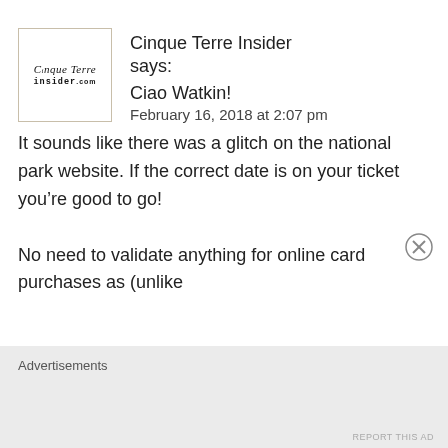[Figure (logo): Cinque Terre Insider logo — square box with brand name in italic serif and stylized text]
Cinque Terre Insider says:
Ciao Watkin!
February 16, 2018 at 2:07 pm
It sounds like there was a glitch on the national park website. If the correct date is on your ticket you’re good to go!

No need to validate anything for online card purchases as (unlike
Advertisements